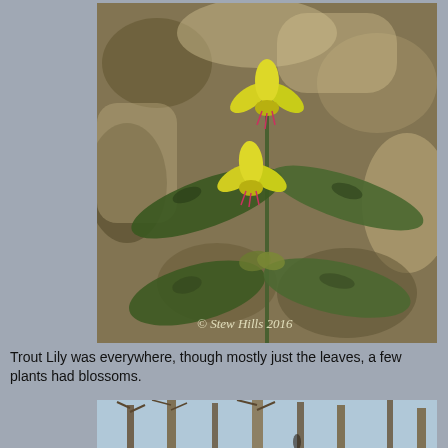[Figure (photo): Close-up photograph of Trout Lily plant with yellow drooping flowers and mottled green leaves, set against a rocky background. Watermark reads '© Stew Hills 2016'.]
Trout Lily was everywhere, though mostly just the leaves, a few plants had blossoms.
[Figure (photo): Photograph of a bare deciduous forest with thin tree trunks and a forest floor partially covered in low green plants.]